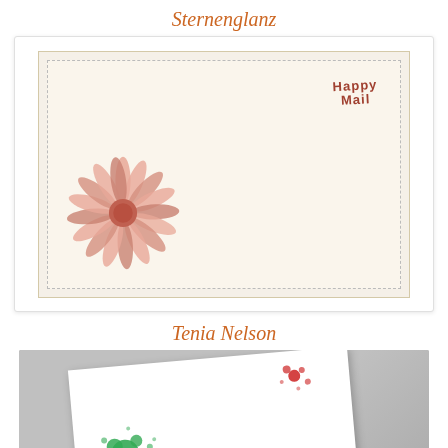Sternenglanz
[Figure (photo): Handmade greeting card with a pink daisy flower on the left side and 'Happy Mail' text embellishment on the upper right, on a cream/beige background with decorative deckled border]
Tenia Nelson
[Figure (photo): White card with red and green ink splatter/paint spots and partial text reading 'Jo' in red letters, photographed at an angle on a gray background]